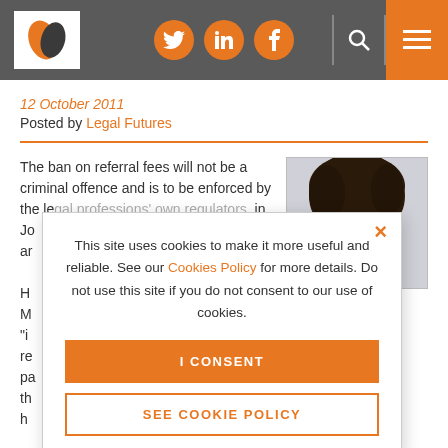[Figure (logo): Legal Futures logo with leaf/feather icon in orange and dark]
[Figure (infographic): Social media icons: Twitter, LinkedIn, Facebook in orange circles]
[Figure (infographic): Search icon and hamburger menu in header]
12 October 2011
Posted by Legal Futures
The ban on referral fees will not be a criminal offence and is to be enforced by the legal professions' own regulators, in...Jo...ar...H...M..."i...re...pa...th...
[Figure (photo): Headshot photo of a person with dark hair, cropped at forehead level]
This site uses cookies to make it more useful and reliable. See our Cookies Policy for more details. Do not use this site if you do not consent to our use of cookies.
I CONSENT
SEE COOKIE POLICY